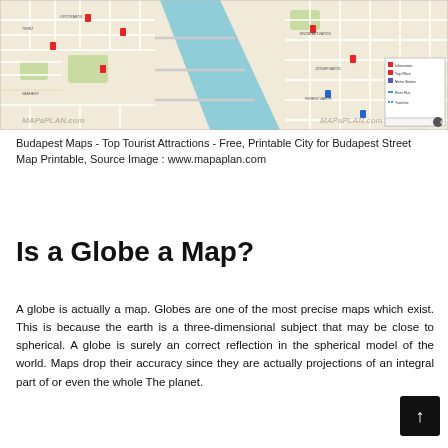[Figure (map): Budapest city street map showing the Danube river running diagonally through the center, with street grid, labeled districts, tourist markers, and a legend in the bottom-right corner. Watermark 'MAPaPLAN.com' visible.]
Budapest Maps - Top Tourist Attractions - Free, Printable City for Budapest Street Map Printable, Source Image : www.mapaplan.com
Is a Globe a Map?
A globe is actually a map. Globes are one of the most precise maps which exist. This is because the earth is a three-dimensional subject that may be close to spherical. A globe is surely an correct reflection in the spherical model of the world. Maps drop their accuracy since they are actually projections of an integral part of or even the whole The planet.